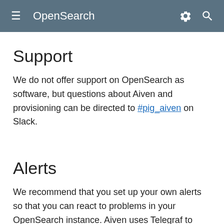OpenSearch
Support
We do not offer support on OpenSearch as software, but questions about Aiven and provisioning can be directed to #pig_aiven on Slack.
Alerts
We recommend that you set up your own alerts so that you can react to problems in your OpenSearch instance. Aiven uses Telegraf to collect and present metrics, so available metrics can be found in the Telegraf documentation.
We have configured our Prometheus instances in GCP to